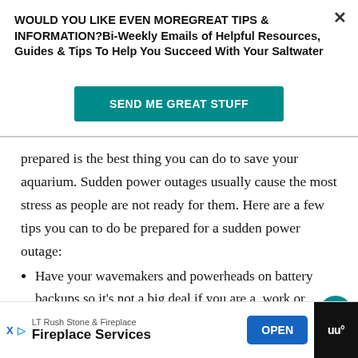WOULD YOU LIKE EVEN MOREGREAT TIPS & INFORMATION?Bi-Weekly Emails of Helpful Resources, Guides & Tips To Help You Succeed With Your Saltwater
SEND ME GREAT STUFF
prepared is the best thing you can do to save your aquarium. Sudden power outages usually cause the most stress as people are not ready for them. Here are a few tips you can to do be prepared for a sudden power outage:
Have your wavemakers and powerheads on battery backups so it's not a big deal if you are a. work or sleeping.
LT Rush Stone & Fireplace
Fireplace Services
OPEN